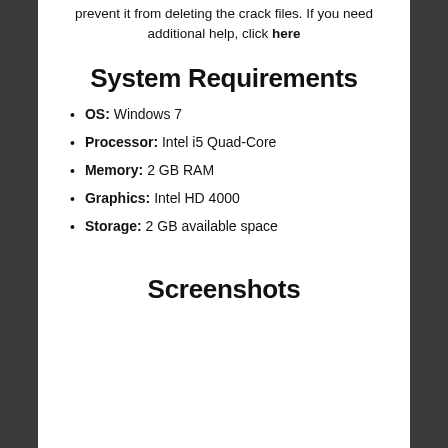prevent it from deleting the crack files. If you need additional help, click here
System Requirements
OS: Windows 7
Processor: Intel i5 Quad-Core
Memory: 2 GB RAM
Graphics: Intel HD 4000
Storage: 2 GB available space
Screenshots